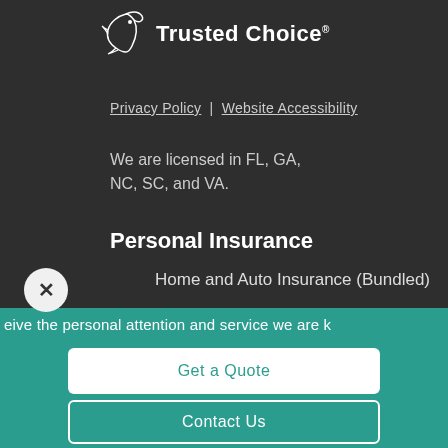[Figure (logo): Trusted Choice logo with bird/dove icon and text 'Trusted Choice®']
Privacy Policy | Website Accessibility
We are licensed in FL, GA, NC, SC, and VA.
Personal Insurance
Home and Auto Insurance (Bundled)
eive the personal attention and service we are k
Get a Quote
Contact Us